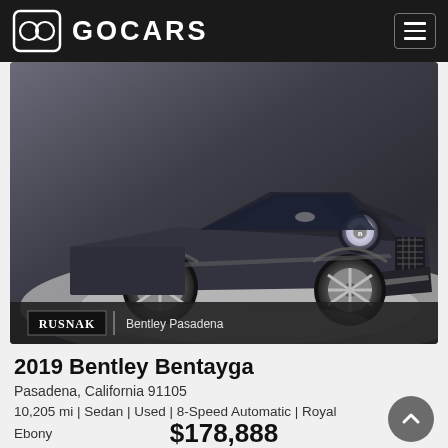GOCARS
[Figure (photo): Dark gray 2019 Bentley Bentayga SUV photographed in a showroom, front three-quarter view, with Rusnak Bentley Pasadena dealer badge overlay at the bottom of the image.]
2019 Bentley Bentayga
Pasadena, California 91105
10,205 mi | Sedan | Used | 8-Speed Automatic | Royal Ebony
$178,888